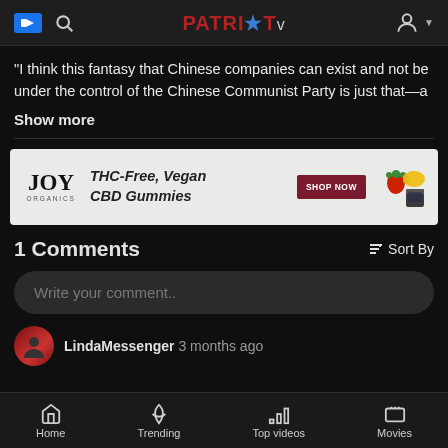PATRIOT.TV
"I think this fantasy that Chinese companies can exist and not be under the control of the Chinese Communist Party is just that—a
Show more
[Figure (other): Joy Organics advertisement banner: THC-Free, Vegan CBD Gummies with Shop Now button and product image with strawberry and lemon]
1 Comments
Sort By
Write your comment..
LindaMessenger 3 months ago
Home  Trending  Top videos  Movies